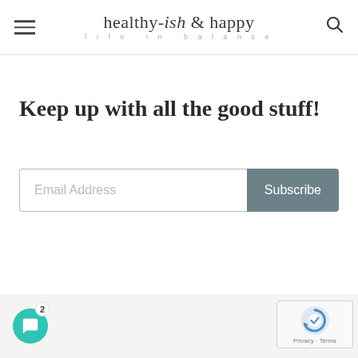healthy-ish & happy — life in balance
Keep up with all the good stuff!
Email Address
Subscribe
[Figure (logo): reCAPTCHA badge with Privacy and Terms links]
[Figure (other): Chat widget button with badge showing count 2]